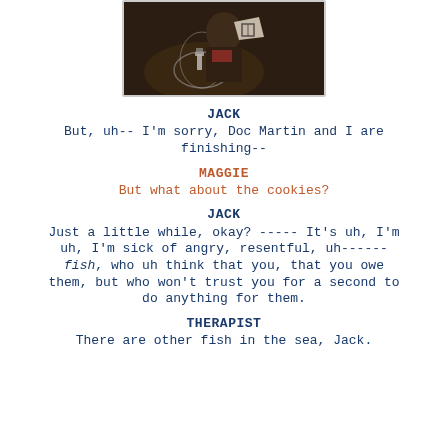[Figure (photo): A person sitting at a table with a large glass bowl or dome in front of them, in a dimly lit indoor setting.]
JACK
But, uh-- I'm sorry, Doc Martin and I are finishing--
MAGGIE
But what about the cookies?
JACK
Just a little while, okay? ----- It's uh, I'm uh, I'm sick of angry, resentful, uh------ fish, who uh think that you, that you owe them, but who won't trust you for a second to do anything for them.
THERAPIST
There are other fish in the sea, Jack.